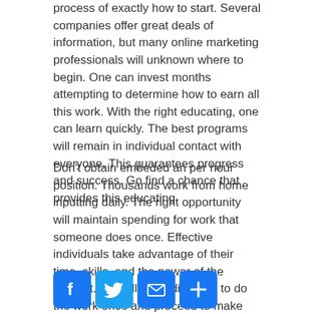process of exactly how to start. Several companies offer great deals of information, but many online marketing professionals will unknown where to begin. One can invest months attempting to determine how to earn all this work. With the right educating, one can learn quickly. The best programs will remain in individual contact with everyone. This guarantees progress and success. Go find a chance that provides this educating.
Don't obtain embeded an per hour position. Thousands work from home inputting daily. The right opportunity will maintain spending for work that someone does once. Effective individuals take advantage of their time, skills, and the power of the internet. This allows individuals to do the work once and proceed to make money. Start a short article marketing profession with a tested network marketing company today.
[Figure (infographic): Four social share buttons: Facebook (blue, F logo), Twitter (light blue, bird logo), Email (blue, envelope icon), Share/Plus (blue, plus icon)]